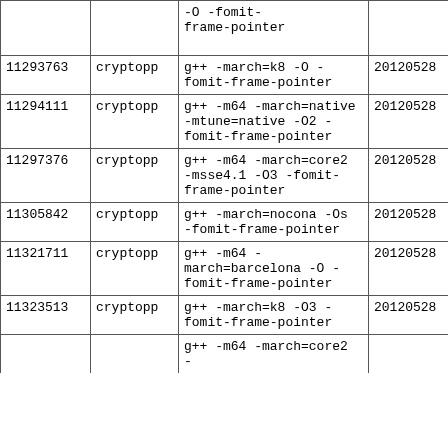| ID | Package | Compiler flags | Date1 | Date2 |
| --- | --- | --- | --- | --- |
|  |  | -O -fomit-frame-pointer |  |  |
| 11293763 | cryptopp | g++ -march=k8 -O -fomit-frame-pointer | 20120528 | 20120... |
| 11294111 | cryptopp | g++ -m64 -march=native -mtune=native -O2 -fomit-frame-pointer | 20120528 | 20120... |
| 11297376 | cryptopp | g++ -m64 -march=core2 -msse4.1 -O3 -fomit-frame-pointer | 20120528 | 20120... |
| 11305842 | cryptopp | g++ -march=nocona -Os -fomit-frame-pointer | 20120528 | 20120... |
| 11321711 | cryptopp | g++ -m64 -march=barcelona -O -fomit-frame-pointer | 20120528 | 20120... |
| 11323513 | cryptopp | g++ -march=k8 -O3 -fomit-frame-pointer | 20120528 | 20120... |
|  |  | g++ -m64 -march=core2 - |  |  |